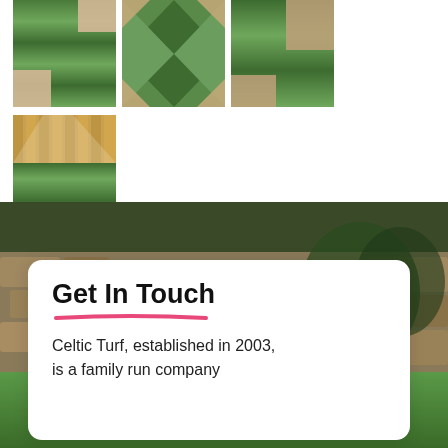[Figure (photo): Gallery of four lawn/artificial turf installation photos. Top row: three landscape photos showing striped green artificial turf laid in a patio setting. Bottom: one photo showing artificial grass against a wooden fence.]
[Figure (photo): Wide landscape background photo showing a stone wall garden feature with green turf and plants.]
Get In Touch
Celtic Turf, established in 2003, is a family run company